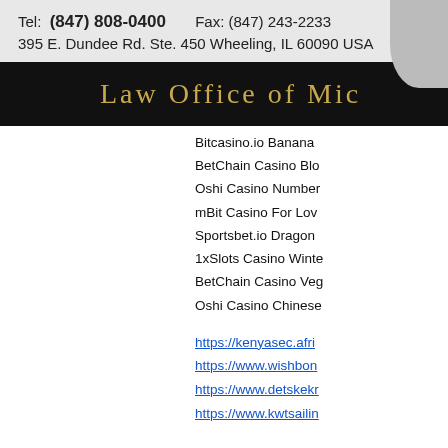Tel: (847) 808-0400    Fax: (847) 243-2233
395 E. Dundee Rd. Ste. 450 Wheeling, IL 60090 USA
Law Office of Mic
Bitcasino.io Banana
BetChain Casino Blo
Oshi Casino Number
mBit Casino For Lov
Sportsbet.io Dragon
1xSlots Casino Winte
BetChain Casino Veg
Oshi Casino Chinese
https://kenyasec.afri
https://www.wishbon
https://www.detskek
https://www.kwtsailin